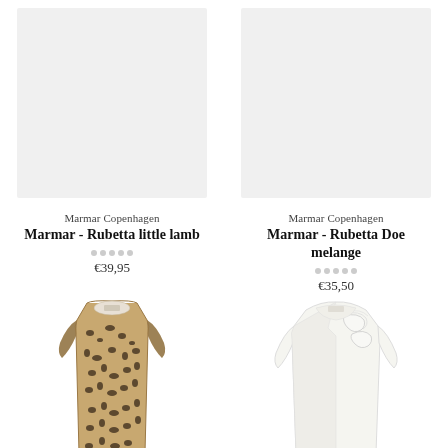[Figure (photo): Product image placeholder for Marmar - Rubetta little lamb, light grey background]
[Figure (photo): Product image placeholder for Marmar - Rubetta Doe melange, light grey background]
Marmar Copenhagen
Marmar - Rubetta little lamb
€39,95
Marmar Copenhagen
Marmar - Rubetta Doe melange
€35,50
[Figure (photo): Leopard print long-sleeve baby dress/romper in brown and cream pattern]
[Figure (photo): White/cream long-sleeve baby wrap bodysuit with ruffle detail]